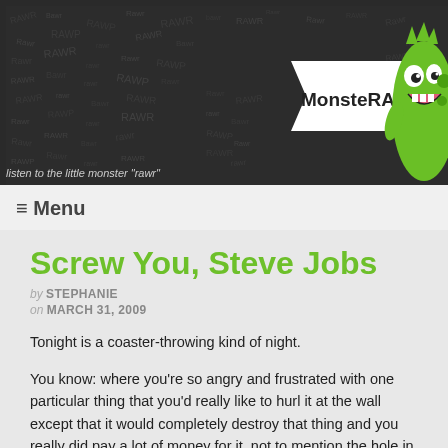[Figure (illustration): MonsteRAwr! blog header banner with dark background covered in scattered 'rawr', 'RAWR', 'Rawr', 'RAWP' text in various sizes. A speech bubble says 'MonsteRAwr!' and a green cartoon monster character appears on the right side.]
listen to the little monster "rawr"
≡ Menu
Screw You, Steve Jobs
by STEPHANIE
on MARCH 31, 2009
Tonight is a coaster-throwing kind of night.
You know: where you're so angry and frustrated with one particular thing that you'd really like to hurl it at the wall except that it would completely destroy that thing and you really did pay a lot of money for it, not to mention the hole in the wall that it would probably create that would spend